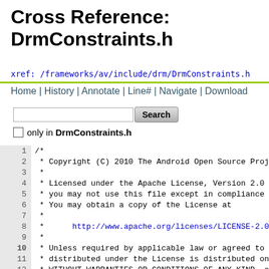Cross Reference: DrmConstraints.h
xref: /frameworks/av/include/drm/DrmConstraints.h
Home | History | Annotate | Line# | Navigate | Download
only in DrmConstraints.h
1  /*
2   * Copyright (C) 2010 The Android Open Source Proje
3   *
4   * Licensed under the Apache License, Version 2.0 (
5   * you may not use this file except in compliance w
6   * You may obtain a copy of the License at
7   *
8   *      http://www.apache.org/licenses/LICENSE-2.0
9   *
10  * Unless required by applicable law or agreed to i
11  * distributed under the License is distributed on
12  * WITHOUT WARRANTIES OR CONDITIONS OF ANY KIND, ei
13  * See the License for the specific language govern
14  * limitations under the License.
15  */
16